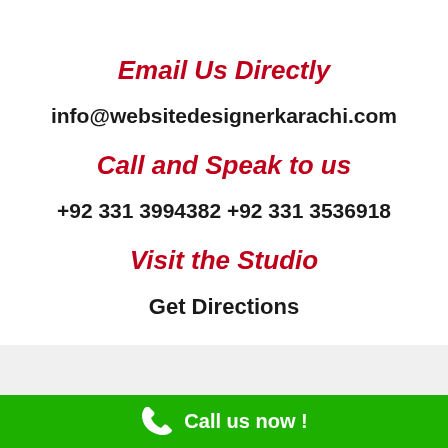Email Us Directly
info@websitedesignerkarachi.com
Call and Speak to us
+92 331 3994382 +92 331 3536918
Visit the Studio
Get Directions
Call us now !